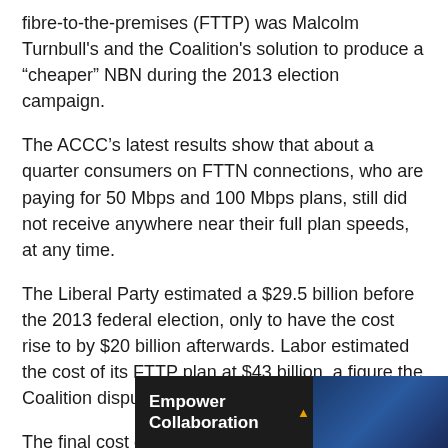fibre-to-the-premises (FTTP) was Malcolm Turnbull's and the Coalition's solution to produce a “cheaper” NBN during the 2013 election campaign.
The ACCC’s latest results show that about a quarter consumers on FTTN connections, who are paying for 50 Mbps and 100 Mbps plans, still did not receive anywhere near their full plan speeds, at any time.
The Liberal Party estimated a $29.5 billion before the 2013 federal election, only to have the cost rise to by $20 billion afterwards. Labor estimated the cost of its FTTP plan at $43 billion, a figure the Coalition disputed and doubled.
The final cost of the Coalition’s NBN roll out increased from $49 billion to $51 billion in 2018. Yesterday NBN boss Stephe[...] ney from ta[...] heads
[Figure (screenshot): Advertisement banner: Empower Collaboration — Centre Com, Windows 11, Intel vPRO]